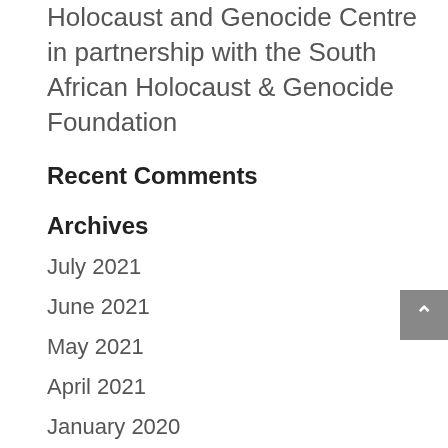Holocaust and Genocide Centre in partnership with the South African Holocaust & Genocide Foundation
Recent Comments
Archives
July 2021
June 2021
May 2021
April 2021
January 2020
December 2019
October 2019